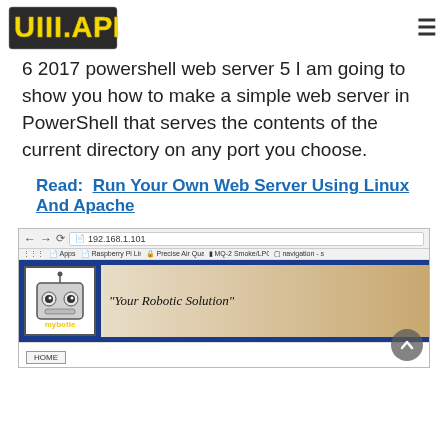UIII.APP
6 2017 powershell web server 5 I am going to show you how to make a simple web server in PowerShell that serves the contents of the current directory on any port you choose.
Read:   Run Your Own Web Server Using Linux And Apache
[Figure (screenshot): Browser screenshot showing a website at 192.168.1.101 with a robot logo named 'mybotie' and tagline 'Your Robotic Solution', with a HOME navigation link visible.]